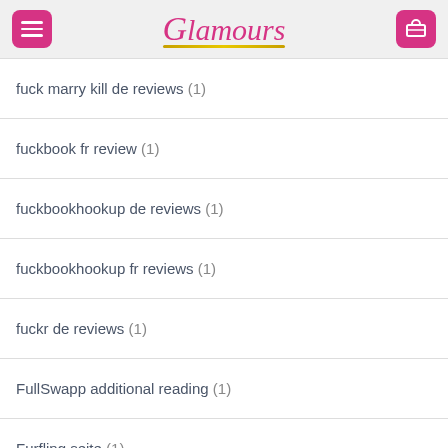Glamours
fuck marry kill de reviews (1)
fuckbook fr review (1)
fuckbookhookup de reviews (1)
fuckbookhookup fr reviews (1)
fuckr de reviews (1)
FullSwapp additional reading (1)
Furfling seite (1)
garden grove hot escort (1)
garden-grove dating (1)
garden-grove escort (1)